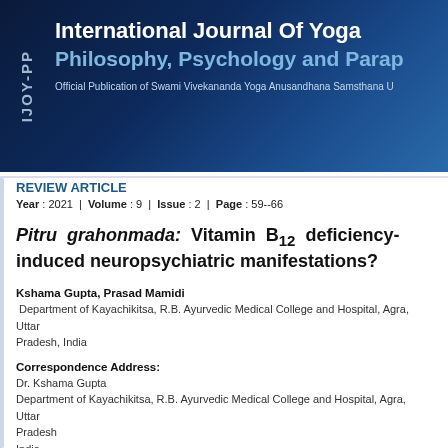[Figure (logo): IJOY-PP journal header banner with dark blue gradient background, vertical text 'IJOY-PP' on left side, and journal title text on right]
REVIEW ARTICLE
Year : 2021 | Volume : 9 | Issue : 2 | Page : 59--66
Pitru grahonmada: Vitamin B12 deficiency-induced neuropsychiatric manifestations?
Kshama Gupta, Prasad Mamidi
Department of Kayachikitsa, R.B. Ayurvedic Medical College and Hospital, Agra, Uttar Pradesh, India
Correspondence Address:
Dr. Kshama Gupta
Department of Kayachikitsa, R.B. Ayurvedic Medical College and Hospital, Agra, Uttar Pradesh
India